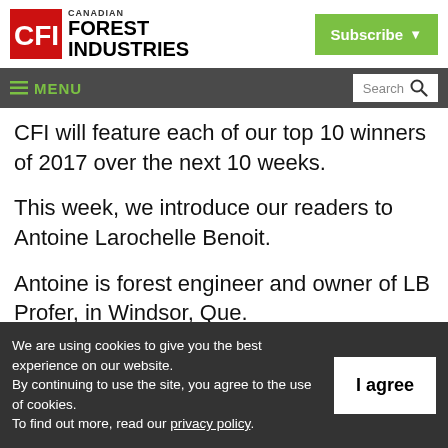[Figure (logo): Canadian Forest Industries (CFI) logo with red square CFI icon and bold black text reading CANADIAN FOREST INDUSTRIES]
[Figure (other): Green Subscribe button with dropdown arrow]
≡ MENU
CFI will feature each of our top 10 winners of 2017 over the next 10 weeks.
This week, we introduce our readers to Antoine Larochelle Benoit.
Antoine is forest engineer and owner of LB Prefer, in Windsor, Que.
We are using cookies to give you the best experience on our website.
By continuing to use the site, you agree to the use of cookies.
To find out more, read our privacy policy.